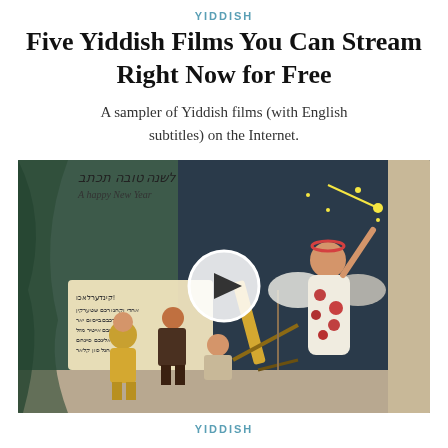YIDDISH
Five Yiddish Films You Can Stream Right Now for Free
A sampler of Yiddish films (with English subtitles) on the Internet.
[Figure (photo): Vintage colorized postcard-style image showing children and an angel figure pointing at stars in a night sky, with a telescope on a tripod. Hebrew/Yiddish text and 'A happy New Year' inscription visible. A video play button overlay is centered on the image.]
YIDDISH